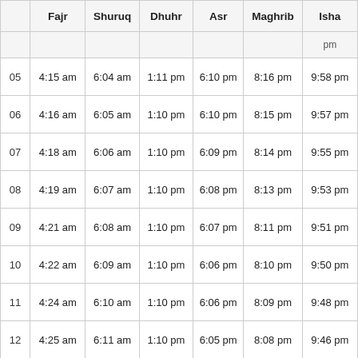|  | Fajr | Shuruq | Dhuhr | Asr | Maghrib | Isha |
| --- | --- | --- | --- | --- | --- | --- |
|  |  |  |  |  |  | pm |
| 05 | 4:15 am | 6:04 am | 1:11 pm | 6:10 pm | 8:16 pm | 9:58 pm |
| 06 | 4:16 am | 6:05 am | 1:10 pm | 6:10 pm | 8:15 pm | 9:57 pm |
| 07 | 4:18 am | 6:06 am | 1:10 pm | 6:09 pm | 8:14 pm | 9:55 pm |
| 08 | 4:19 am | 6:07 am | 1:10 pm | 6:08 pm | 8:13 pm | 9:53 pm |
| 09 | 4:21 am | 6:08 am | 1:10 pm | 6:07 pm | 8:11 pm | 9:51 pm |
| 10 | 4:22 am | 6:09 am | 1:10 pm | 6:06 pm | 8:10 pm | 9:50 pm |
| 11 | 4:24 am | 6:10 am | 1:10 pm | 6:06 pm | 8:09 pm | 9:48 pm |
| 12 | 4:25 am | 6:11 am | 1:10 pm | 6:05 pm | 8:08 pm | 9:46 pm |